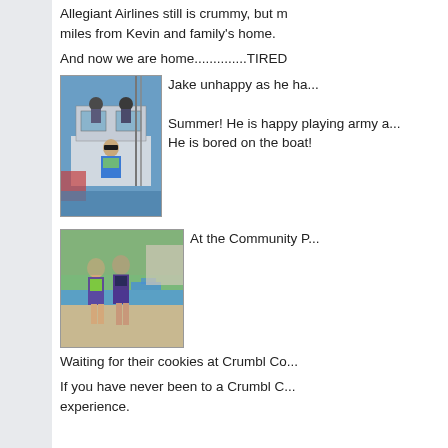Allegiant Airlines still is crummy, but miles from Kevin and family's home.
And now we are home..............TIRED
[Figure (photo): Photo of Jake on a boat, wearing a colorful outfit with sunglasses, people visible in background near boat cabin]
Jake unhappy as he ha... Summer! He is happy playing army a... He is bored on the boat!
[Figure (photo): Two children standing at a community pool, wrapped in towels/capes, pool and lounge chairs in background]
At the Community P...
Waiting for their cookies at Crumbl Co...
If you have never been to a Crumbl C... experience.